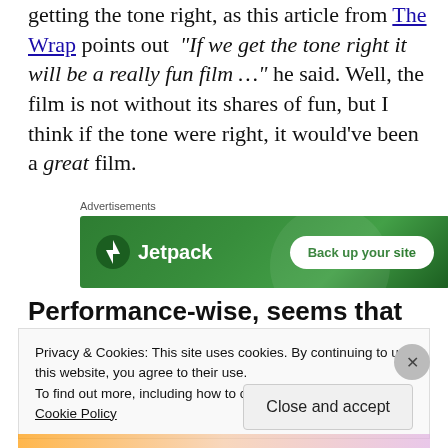getting the tone right, as this article from The Wrap points out  "If we get the tone right it will be a really fun film …" he said. Well, the film is not without its shares of fun, but I think if the tone were right, it would've been a great film.
[Figure (infographic): Jetpack advertisement banner with green gradient background showing Jetpack logo and 'Back up your site' button]
Performance-wise, seems that the cast are
Privacy & Cookies: This site uses cookies. By continuing to use this website, you agree to their use.
To find out more, including how to control cookies, see here: Cookie Policy
Close and accept